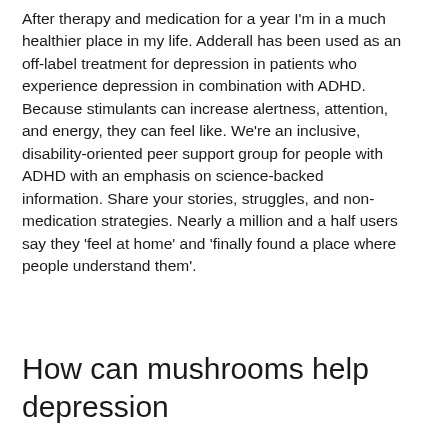After therapy and medication for a year I'm in a much healthier place in my life. Adderall has been used as an off-label treatment for depression in patients who experience depression in combination with ADHD. Because stimulants can increase alertness, attention, and energy, they can feel like. We're an inclusive, disability-oriented peer support group for people with ADHD with an emphasis on science-backed information. Share your stories, struggles, and non-medication strategies. Nearly a million and a half users say they 'feel at home' and 'finally found a place where people understand them'.
How can mushrooms help depression